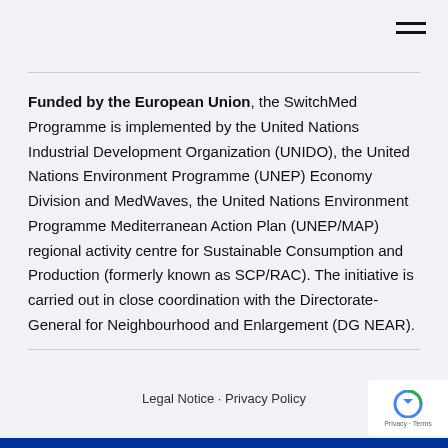≡
Funded by the European Union, the SwitchMed Programme is implemented by the United Nations Industrial Development Organization (UNIDO), the United Nations Environment Programme (UNEP) Economy Division and MedWaves, the United Nations Environment Programme Mediterranean Action Plan (UNEP/MAP) regional activity centre for Sustainable Consumption and Production (formerly known as SCP/RAC). The initiative is carried out in close coordination with the Directorate-General for Neighbourhood and Enlargement (DG NEAR).
Legal Notice · Privacy Policy